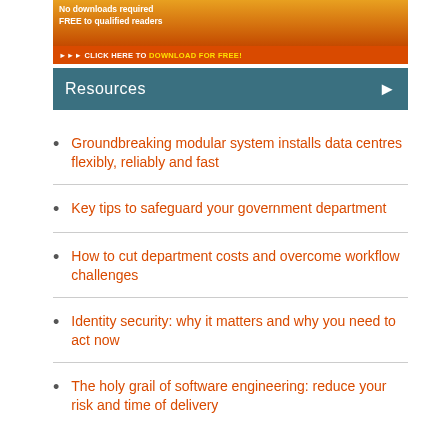[Figure (screenshot): Banner ad with orange gradient background. Text reads 'No downloads required / FREE to qualified readers' with a red bar below reading '>>> CLICK HERE TO DOWNLOAD FOR FREE!']
Resources
Groundbreaking modular system installs data centres flexibly, reliably and fast
Key tips to safeguard your government department
How to cut department costs and overcome workflow challenges
Identity security: why it matters and why you need to act now
The holy grail of software engineering: reduce your risk and time of delivery